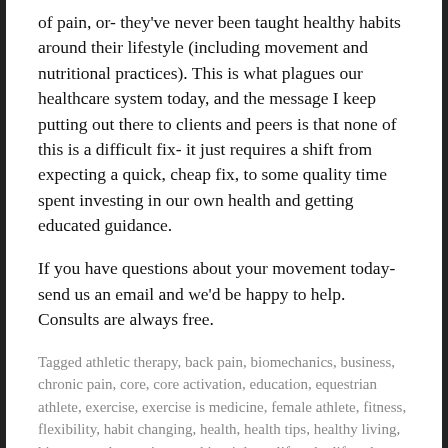of pain, or- they've never been taught healthy habits around their lifestyle (including movement and nutritional practices). This is what plagues our healthcare system today, and the message I keep putting out there to clients and peers is that none of this is a difficult fix- it just requires a shift from expecting a quick, cheap fix, to some quality time spent investing in our own health and getting educated guidance.
If you have questions about your movement today- send us an email and we'd be happy to help. Consults are always free.
Tagged athletic therapy, back pain, biomechanics, business, chronic pain, core, core activation, education, equestrian athlete, exercise, exercise is medicine, female athlete, fitness, flexibility, habit changing, health, health tips, healthy living, hip opener, hunter jumper, kinesiology, lifestyle, lifestyle changes, low back pain, mobility, movement, movement as medicine...